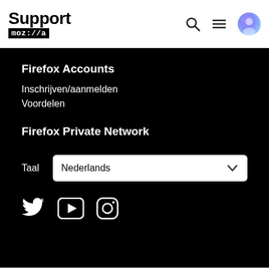Support mozilla // a
Firefox Accounts
Inschrijven/aanmelden
Voordelen
Firefox Private Network
Taal  Nederlands
[Figure (other): Social media icons: Twitter, YouTube, Instagram]